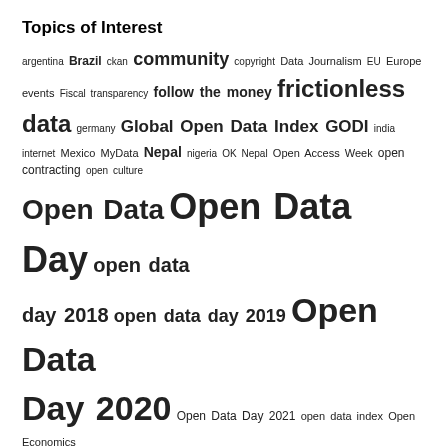Topics of Interest
argentina Brazil ckan community copyright Data Journalism EU Europe events Fiscal transparency follow the money frictionless data germany Global Open Data Index GODI india internet Mexico MyData Nepal nigeria OK Nepal Open Access Week open contracting open culture Open Data Open Data Day open data day 2018 open data day 2019 Open Data Day 2020 Open Data Day 2021 open data index Open Economics open government open government data Open Knowledge Open Knowledge Foundation open mapping open science open source OpenSpending open spending personal data policy research
Search